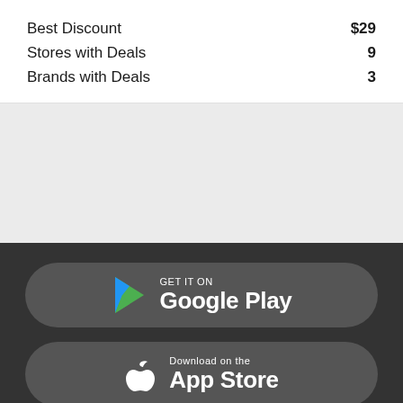Best Discount $29
Stores with Deals 9
Brands with Deals 3
[Figure (other): Gray placeholder/advertisement area]
[Figure (other): GET IT ON Google Play button with Google Play triangle logo in red, green, yellow, blue colors]
[Figure (other): Download on the App Store button with Apple logo]